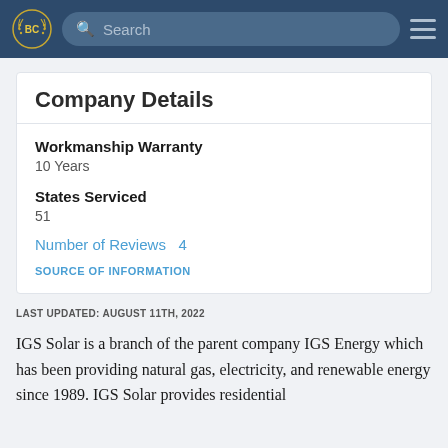BC [logo] Search [hamburger menu]
Company Details
Workmanship Warranty
10 Years
States Serviced
51
Number of Reviews  4
SOURCE OF INFORMATION
LAST UPDATED: AUGUST 11TH, 2022
IGS Solar is a branch of the parent company IGS Energy which has been providing natural gas, electricity, and renewable energy since 1989. IGS Solar provides residential